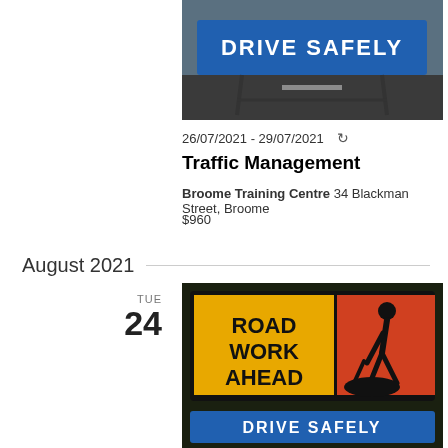[Figure (photo): Blue 'DRIVE SAFELY' road safety sign on a stand, photographed on a road surface.]
26/07/2021 - 29/07/2021 ↻
Traffic Management
Broome Training Centre 34 Blackman Street, Broome
$960
August 2021
TUE
24
[Figure (photo): Orange and yellow 'ROAD WORK AHEAD' sign with a worker silhouette digging, and a partial blue 'DRIVE SAFELY' sign below.]